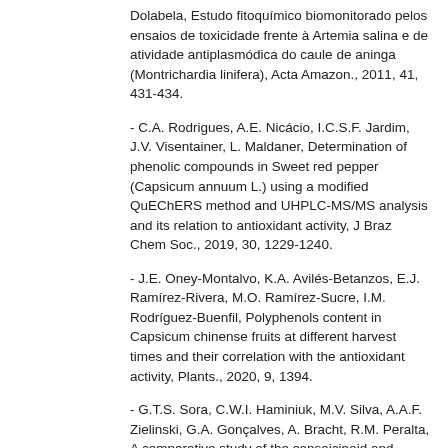Dolabela, Estudo fitoquímico biomonitorado pelos ensaios de toxicidade frente à Artemia salina e de atividade antiplasmódica do caule de aninga (Montrichardia linifera), Acta Amazon., 2011, 41, 431-434.
- C.A. Rodrigues, A.E. Nicácio, I.C.S.F. Jardim, J.V. Visentainer, L. Maldaner, Determination of phenolic compounds in Sweet red pepper (Capsicum annuum L.) using a modified QuEChERS method and UHPLC-MS/MS analysis and its relation to antioxidant activity, J Braz Chem Soc., 2019, 30, 1229-1240.
- J.E. Oney-Montalvo, K.A. Avilés-Betanzos, E.J. Ramírez-Rivera, M.O. Ramírez-Sucre, I.M. Rodríguez-Buenfil, Polyphenols content in Capsicum chinense fruits at different harvest times and their correlation with the antioxidant activity, Plants., 2020, 9, 1394.
- G.T.S. Sora, C.W.I. Haminiuk, M.V. Silva, A.A.F. Zielinski, G.A. Gonçalves, A. Bracht, R.M. Peralta, A comparative study of the capsaicinoid and phenolic contents and in vitro antioxidant activities of the peppers of the genus Capsicum: an application of chemometrics,